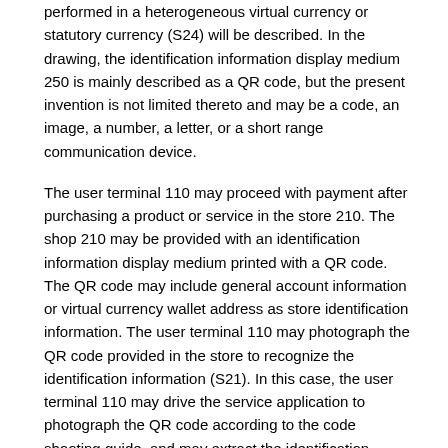performed in a heterogeneous virtual currency or statutory currency (S24) will be described. In the drawing, the identification information display medium 250 is mainly described as a QR code, but the present invention is not limited thereto and may be a code, an image, a number, a letter, or a short range communication device.
The user terminal 110 may proceed with payment after purchasing a product or service in the store 210. The shop 210 may be provided with an identification information display medium printed with a QR code. The QR code may include general account information or virtual currency wallet address as store identification information. The user terminal 110 may photograph the QR code provided in the store to recognize the identification information (S21). In this case, the user terminal 110 may drive the service application to photograph the QR code according to the code shooting guide, and may extract the identification information of the store from the recognized QR code. In one embodiment, the identification information may be in an encrypted form, and the user terminal 110 may extract the identification information by decrypting the service terminal at the time of capturing the image, or decrypting it